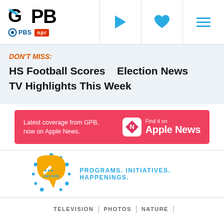[Figure (logo): GPB logo with PBS and NPR badges, plus navigation icons (play, heart, hamburger menu)]
DON'T MISS:
HS Football Scores    Election News
TV Highlights This Week
[Figure (infographic): Apple News banner: Latest coverage from GPB, now on Apple News. Find it on Apple News logo.]
[Figure (logo): #MYGPB speech bubble logo with text: PROGRAMS. INITIATIVES. HAPPENINGS.]
TELEVISION  |  PHOTOS  |  NATURE  |